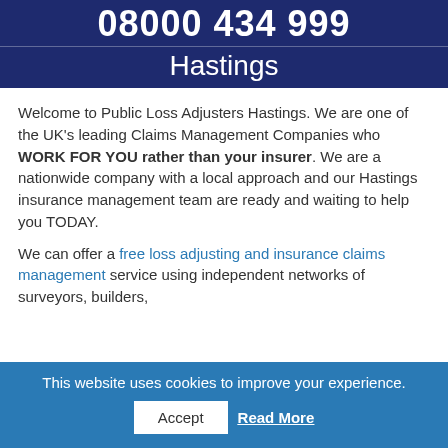[Figure (logo): Dark navy banner with phone number 08000 434 999 and brand name Hastings in white text on dark blue background]
Welcome to Public Loss Adjusters Hastings. We are one of the UK's leading Claims Management Companies who WORK FOR YOU rather than your insurer. We are a nationwide company with a local approach and our Hastings insurance management team are ready and waiting to help you TODAY.
We can offer a free loss adjusting and insurance claims management service using independent networks of surveyors, builders,
This website uses cookies to improve your experience.
Accept
Read More